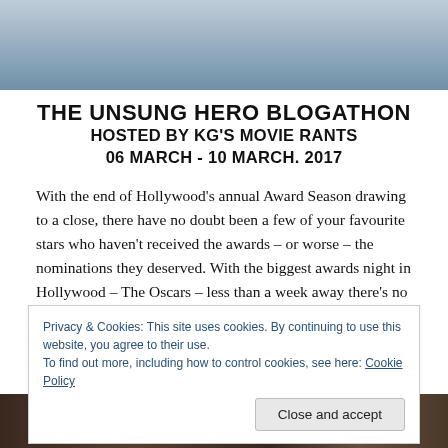[Figure (photo): Top portion of a person wearing a grey shirt, cropped photo used as banner image]
THE UNSUNG HERO BLOGATHON
HOSTED BY KG'S MOVIE RANTS
06 MARCH - 10 MARCH. 2017
With the end of Hollywood’s annual Award Season drawing to a close, there have no doubt been a few of your favourite stars who haven’t received the awards – or worse – the nominations they deserved. With the biggest awards night in Hollywood – The Oscars – less than a week away there’s no doubt to be an Unsung Hero or two
Privacy & Cookies: This site uses cookies. By continuing to use this website, you agree to their use.
To find out more, including how to control cookies, see here: Cookie Policy
Close and accept
[Figure (photo): Bottom portion showing a group of people, cropped photo at the bottom of the page]